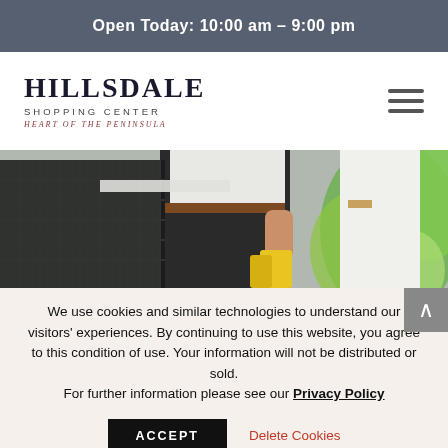Open Today: 10:00 am – 9:00 pm
[Figure (logo): Hillsdale Shopping Center logo with text HILLSDALE SHOPPING CENTER HEART OF THE PENINSULA and hamburger menu icon]
[Figure (photo): Person in dark pants and white shirt carrying yellow shopping bags near a black metal chair and green plants outdoors]
We use cookies and similar technologies to understand our visitors' experiences. By continuing to use this website, you agree to this condition of use. Your information will not be distributed or sold.
For further information please see our Privacy Policy
ACCEPT   Delete Cookies